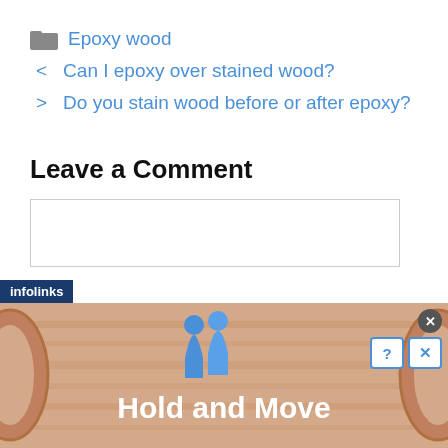📁 Epoxy wood
< Can I epoxy over stained wood?
> Do you stain wood before or after epoxy?
Leave a Comment
[Figure (screenshot): Comment text area input box (empty)]
[Figure (screenshot): Infolinks advertisement banner showing 'Hold and Move' with blue figure icons on a wood-textured background, with close and help buttons]